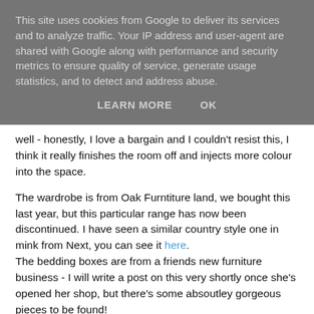This site uses cookies from Google to deliver its services and to analyze traffic. Your IP address and user-agent are shared with Google along with performance and security metrics to ensure quality of service, generate usage statistics, and to detect and address abuse.
LEARN MORE    OK
well - honestly, I love a bargain and I couldn't resist this, I think it really finishes the room off and injects more colour into the space.
The wardrobe is from Oak Furntiture land, we bought this last year, but this particular range has now been discontinued. I have seen a similar country style one in mink from Next, you can see it here. The bedding boxes are from a friends new furniture business - I will write a post on this very shortly once she's opened her shop, but there's some absoutley gorgeous pieces to be found!
The blinds are from Dunelm and are just simple blackout